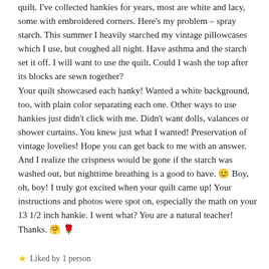quilt. I've collected hankies for years, most are white and lacy, some with embroidered corners. Here's my problem – spray starch. This summer I heavily starched my vintage pillowcases which I use, but coughed all night. Have asthma and the starch set it off. I will want to use the quilt. Could I wash the top after its blocks are sewn together?
Your quilt showcased each hanky! Wanted a white background, too, with plain color separating each one. Other ways to use hankies just didn't click with me. Didn't want dolls, valances or shower curtains. You knew just what I wanted! Preservation of vintage lovelies! Hope you can get back to me with an answer. And I realize the crispness would be gone if the starch was washed out, but nighttime breathing is a good to have. 😊 Boy, oh, boy! I truly got excited when your quilt came up! Your instructions and photos were spot on, especially the math on your 13 1/2 inch hankie. I went what? You are a natural teacher! Thanks. 🤗 🌹
Liked by 1 person